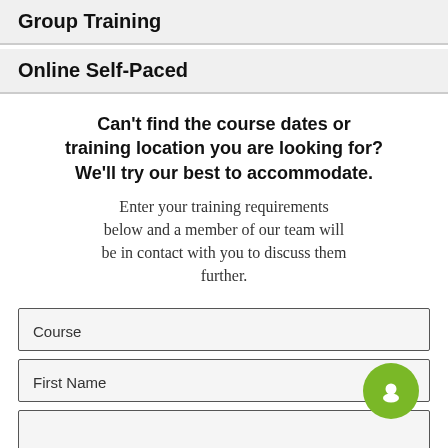Group Training
Online Self-Paced
Can't find the course dates or training location you are looking for? We'll try our best to accommodate.
Enter your training requirements below and a member of our team will be in contact with you to discuss them further.
Course
First Name